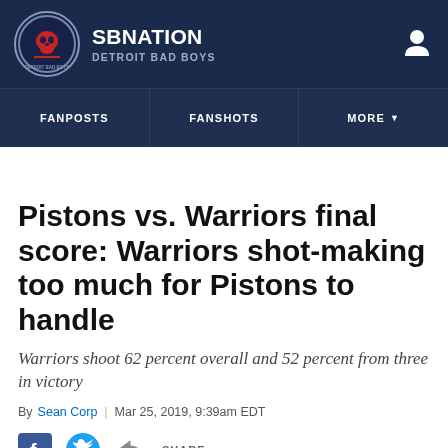SB NATION DETROIT BAD BOYS
FANPOSTS
FANSHOTS
MORE
Pistons vs. Warriors final score: Warriors shot-making too much for Pistons to handle
Warriors shoot 62 percent overall and 52 percent from three in victory
By Sean Corp | Mar 25, 2019, 9:39am EDT